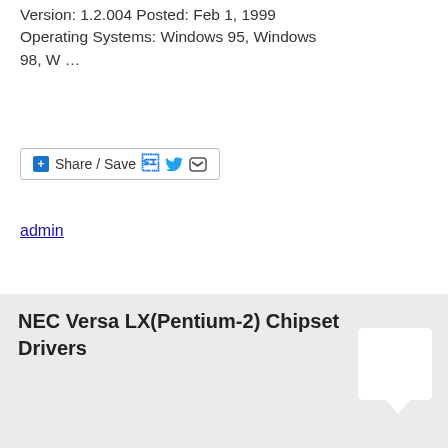Version: 1.2.004 Posted: Feb 1, 1999 Operating Systems: Windows 95, Windows 98, W …
[Figure (other): Share / Save button with Facebook, Twitter, and share icons]
admin
NEC Versa LX(Pentium-2) Chipset Drivers
BY ADMIN COMMENTS
NEC Versa LX(Pentium-2) Chipset Drivers Versa LX/SX Series PIIX4 PCI BUS Drivers. File Name: VLPIIX4A.EXE Version: